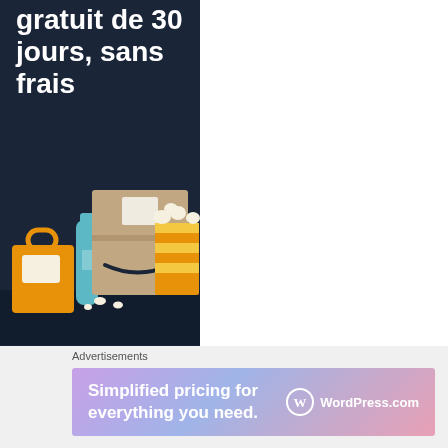[Figure (illustration): Amazon Prime advertisement banner with dark navy background showing partial text 'gratuit de 30 jours, sans frais' in white bold font, and an illustration of an Amazon delivery box, a shopping bag, a water bottle, and a popcorn bucket]
[Figure (illustration): Close/dismiss button circle with X symbol]
Advertisements
[Figure (illustration): WordPress.com advertisement banner with gradient purple-pink background reading 'Simplified pricing for everything you need.' with WordPress.com logo on the right]